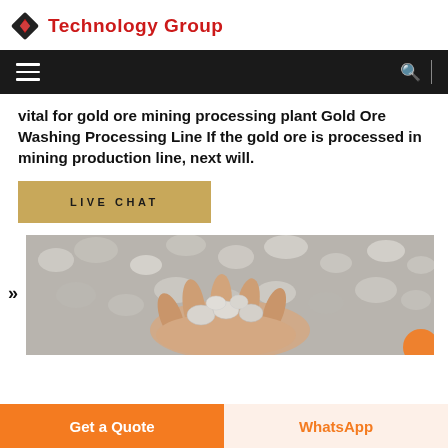Technology Group
vital for gold ore mining processing plant Gold Ore Washing Processing Line If the gold ore is processed in mining production line, next will.
LIVE CHAT
[Figure (photo): Hands holding grey crushed stone/ore rocks, with blurred rock background]
Get a Quote
WhatsApp